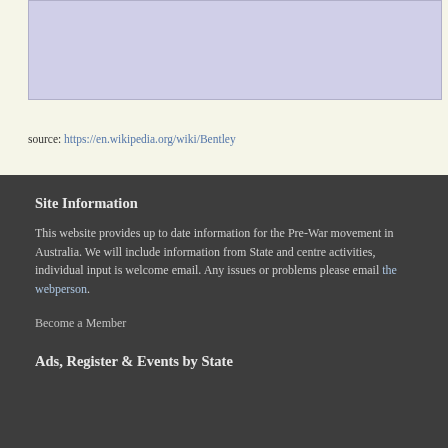[Figure (other): A pale lavender/purple rectangular content box at the top of the page]
source: https://en.wikipedia.org/wiki/Bentley
Site Information
This website provides up to date information for the Pre-War movement in Australia. We will include information from State and centre activities, individual input is welcome email. Any issues or problems please email the webperson.
Become a Member
Ads, Register & Events by State